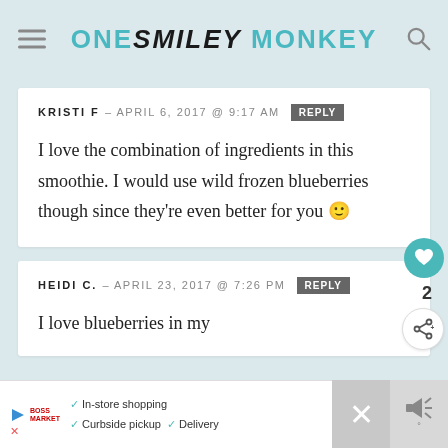ONE SMILEY MONKEY
KRISTI F – APRIL 6, 2017 @ 9:17 AM  [REPLY]
I love the combination of ingredients in this smoothie. I would use wild frozen blueberries though since they're even better for you 🙂
HEIDI C. – APRIL 23, 2017 @ 7:26 PM  [REPLY]
I love blueberries in my
Ad: In-store shopping  Curbside pickup  Delivery